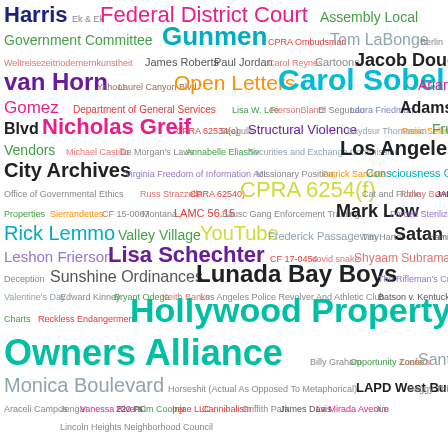[Figure (other): Word cloud containing legal, governmental, and Los Angeles related terms in various sizes and colors on a white background. Largest terms include 'Hollywood Property Owners Alliance', 'Owners Alliance', 'Lunada Bay Boys', 'Carol Sobel', 'CPRA 6254(f)', 'Gunmen', 'Federal District Court', 'Los Angeles City Archives', 'Nicholas Greif', 'Lisa Schechter', 'Jacob Douglas', 'Rick Lemmo', 'Satan', 'Mark Low', 'van Horn', 'Open Letters', 'Adams Blvd', 'Fruit Vendors', 'Sunshine Ordinances', 'Santa Monica Boulevard', 'LAPD West Bureau' and many smaller terms.]